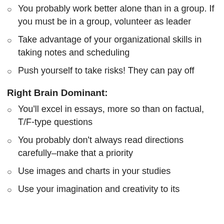You probably work better alone than in a group. If you must be in a group, volunteer as leader
Take advantage of your organizational skills in taking notes and scheduling
Push yourself to take risks! They can pay off
Right Brain Dominant:
You'll excel in essays, more so than on factual, T/F-type questions
You probably don't always read directions carefully–make that a priority
Use images and charts in your studies
Use your imagination and creativity to its